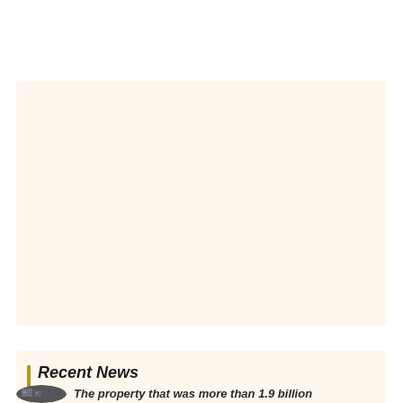[Figure (other): Beige/cream colored card area (top section, content not visible)]
Recent News
The property that was more than 1.9 billion